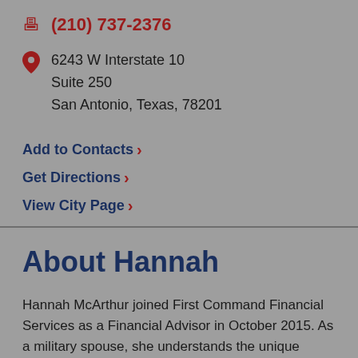(210) 737-2376
6243 W Interstate 10
Suite 250
San Antonio, Texas, 78201
Add to Contacts ›
Get Directions ›
View City Page ›
About Hannah
Hannah McArthur joined First Command Financial Services as a Financial Advisor in October 2015. As a military spouse, she understands the unique situations and circumstances